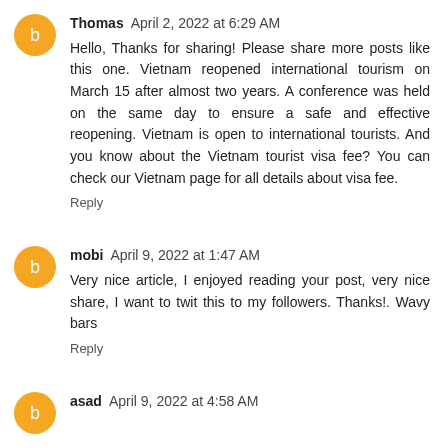Thomas April 2, 2022 at 6:29 AM
Hello, Thanks for sharing! Please share more posts like this one. Vietnam reopened international tourism on March 15 after almost two years. A conference was held on the same day to ensure a safe and effective reopening. Vietnam is open to international tourists. And you know about the Vietnam tourist visa fee? You can check our Vietnam page for all details about visa fee.
Reply
mobi April 9, 2022 at 1:47 AM
Very nice article, I enjoyed reading your post, very nice share, I want to twit this to my followers. Thanks!. Wavy bars
Reply
asad April 9, 2022 at 4:58 AM